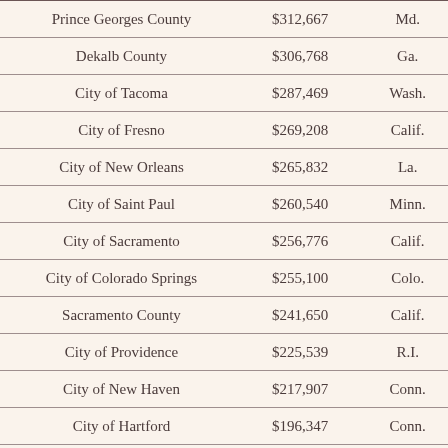| Prince Georges County | $312,667 | Md. |
| Dekalb County | $306,768 | Ga. |
| City of Tacoma | $287,469 | Wash. |
| City of Fresno | $269,208 | Calif. |
| City of New Orleans | $265,832 | La. |
| City of Saint Paul | $260,540 | Minn. |
| City of Sacramento | $256,776 | Calif. |
| City of Colorado Springs | $255,100 | Colo. |
| Sacramento County | $241,650 | Calif. |
| City of Providence | $225,539 | R.I. |
| City of New Haven | $217,907 | Conn. |
| City of Hartford | $196,347 | Conn. |
| City of Long Beach | $196,217 | Calif. |
| City of Bridgeport | $195,781 | Conn. |